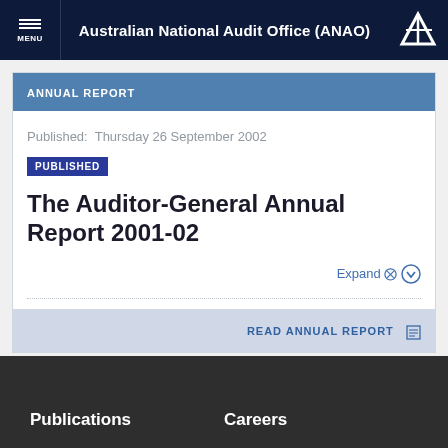Australian National Audit Office (ANAO)
ANNUAL REPORT
Published: Thursday 26 September 2002
PUBLISHED
The Auditor-General Annual Report 2001-02
Expand
READ ANNUAL REPORT
Publications   Careers